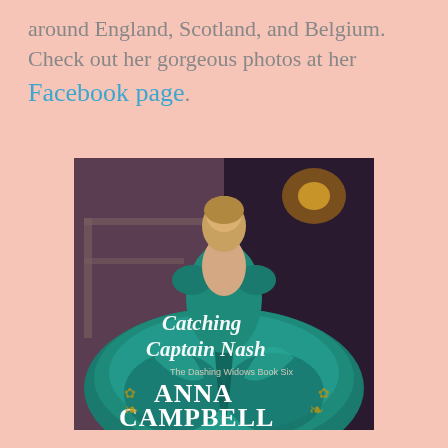around England, Scotland, and Belgium. Check out her gorgeous photos at her Facebook page.
[Figure (photo): Book cover for 'Catching Captain Nash – The Dashing Widows Book Six' by Anna Campbell. A woman in a large teal ball gown faces away, with an ornate staircase and warm lighting in the background. The title and author name are overlaid in decorative script and serif fonts.]